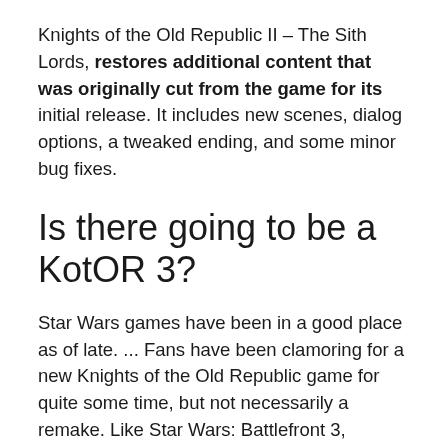Knights of the Old Republic II – The Sith Lords, restores additional content that was originally cut from the game for its initial release. It includes new scenes, dialog options, a tweaked ending, and some minor bug fixes.
Is there going to be a KotOR 3?
Star Wars games have been in a good place as of late. ... Fans have been clamoring for a new Knights of the Old Republic game for quite some time, but not necessarily a remake. Like Star Wars: Battlefront 3, KOTOR 3 is one of those white whales of Star Wars games that never came to be, despite high